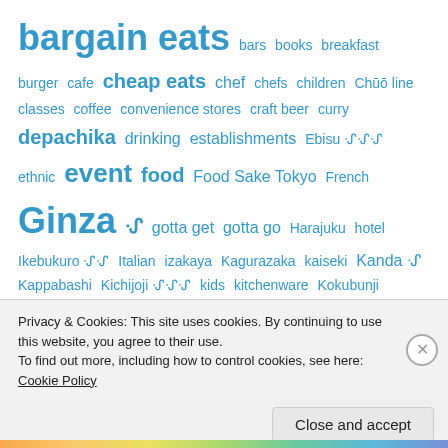bargain eats bars books breakfast burger cafe cheap eats chef chefs children Chūō line classes coffee convenience stores craft beer curry depachika drinking establishments Ebisu 崑崑 ethnic event food Food Sake Tokyo French Ginza 崑 gotta get gotta go Harajuku hotel Ikebukuro 崑崑 Italian izakaya Kagurazaka kaiseki Kanda 崑 Kappabashi Kichijoji 崑崑崑 kids kitchenware Kokubunji Kyoto 崑 Marunouchi media Meguro-ku Michelin monjayaki Nagano Nakameguro Narita Nihonbashi nihonshu 崑崑崑 Ningyocho 崑崑
Privacy & Cookies: This site uses cookies. By continuing to use this website, you agree to their use. To find out more, including how to control cookies, see here: Cookie Policy
Close and accept